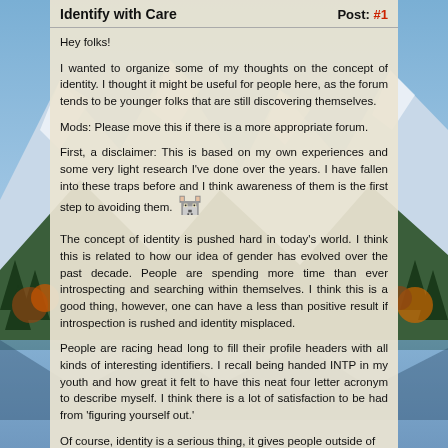Identify with Care    Post: #1
Hey folks!
I wanted to organize some of my thoughts on the concept of identity. I thought it might be useful for people here, as the forum tends to be younger folks that are still discovering themselves.
Mods: Please move this if there is a more appropriate forum.
First, a disclaimer: This is based on my own experiences and some very light research I've done over the years. I have fallen into these traps before and I think awareness of them is the first step to avoiding them. 🐺
The concept of identity is pushed hard in today's world. I think this is related to how our idea of gender has evolved over the past decade. People are spending more time than ever introspecting and searching within themselves. I think this is a good thing, however, one can have a less than positive result if introspection is rushed and identity misplaced.
People are racing head long to fill their profile headers with all kinds of interesting identifiers. I recall being handed INTP in my youth and how great it felt to have this neat four letter acronym to describe myself. I think there is a lot of satisfaction to be had from 'figuring yourself out.'
Of course, identity is a serious thing, it gives people outside of